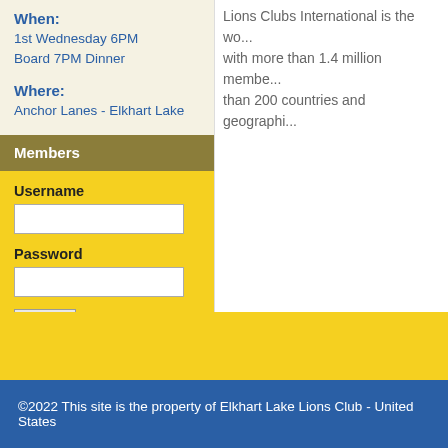When:
1st Wednesday 6PM
Board 7PM Dinner
Where:
Anchor Lanes - Elkhart Lake
Members
Username
Password
Forgot My Password
Lions Clubs International is the wo... with more than 1.4 million membe... than 200 countries and geographi...
©2022 This site is the property of Elkhart Lake Lions Club - United States